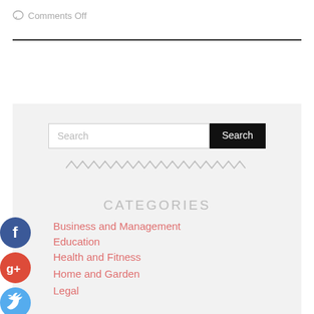Comments Off
[Figure (other): Search bar with Search button and zigzag divider]
CATEGORIES
Business and Management
Education
Health and Fitness
Home and Garden
Legal